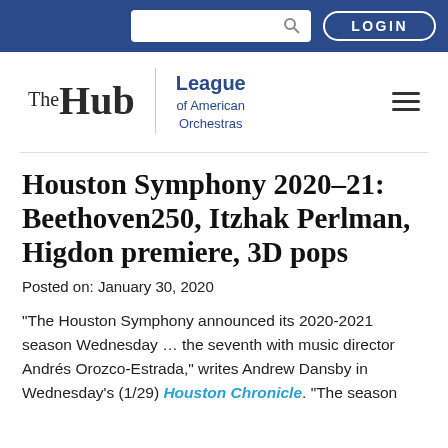LOGIN
[Figure (logo): The Hub | League of American Orchestras logo with hamburger menu]
Houston Symphony 2020-21: Beethoven250, Itzhak Perlman, Higdon premiere, 3D pops
Posted on: January 30, 2020
“The Houston Symphony announced its 2020-2021 season Wednesday … the seventh with music director Andrés Orozco-Estrada,” writes Andrew Dansby in Wednesday’s (1/29) Houston Chronicle. “The season